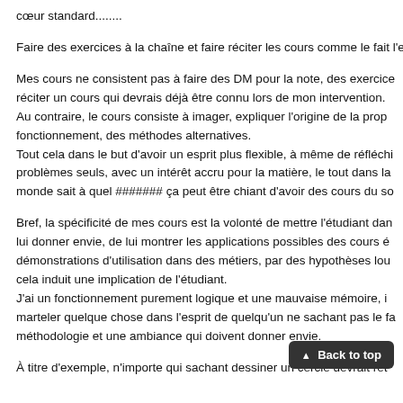cœur standard........
Faire des exercices à la chaîne et faire réciter les cours comme le fait l'enseignement classique n'est alors pas la solution.....
Mes cours ne consistent pas à faire des DM pour la note, des exercices réciter un cours qui devrais déjà être connu lors de mon intervention. Au contraire, le cours consiste à imager, expliquer l'origine de la prop fonctionnement, des méthodes alternatives. Tout cela dans le but d'avoir un esprit plus flexible, à même de réfléchi problèmes seuls, avec un intérêt accru pour la matière, le tout dans la monde sait à quel ####### ça peut être chiant d'avoir des cours du so
Bref, la spécificité de mes cours est la volonté de mettre l'étudiant dan lui donner envie, de lui montrer les applications possibles des cours é démonstrations d'utilisation dans des métiers, par des hypothèses lou cela induit une implication de l'étudiant. J'ai un fonctionnement purement logique et une mauvaise mémoire, i marteler quelque chose dans l'esprit de quelqu'un ne sachant pas le fa méthodologie et une ambiance qui doivent donner envie.
À titre d'exemple, n'importe qui sachant dessiner un cercle devrait ret